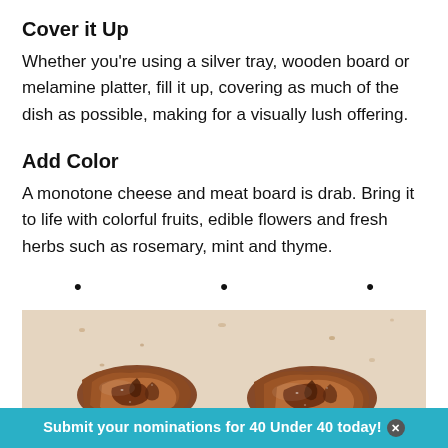Cover it Up
Whether you’re using a silver tray, wooden board or melamine platter, fill it up, covering as much of the dish as possible, making for a visually lush offering.
Add Color
A monotone cheese and meat board is drab. Bring it to life with colorful fruits, edible flowers and fresh herbs such as rosemary, mint and thyme.
•   •   •
[Figure (photo): Close-up photo of glazed/candied pecans on a light surface]
Submit your nominations for 40 Under 40 today!